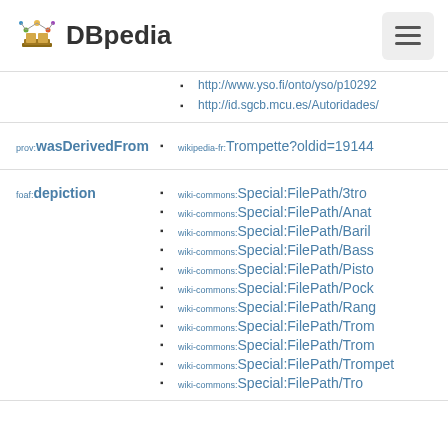DBpedia
http://www.yso.fi/onto/yso/p10292
http://id.sgcb.mcu.es/Autoridades/
prov:wasDerivedFrom
wikipedia-fr:Trompette?oldid=19144
foaf:depiction
wiki-commons:Special:FilePath/3tro
wiki-commons:Special:FilePath/Anat
wiki-commons:Special:FilePath/Baril
wiki-commons:Special:FilePath/Bass
wiki-commons:Special:FilePath/Pisto
wiki-commons:Special:FilePath/Pock
wiki-commons:Special:FilePath/Rang
wiki-commons:Special:FilePath/Trom
wiki-commons:Special:FilePath/Trom
wiki-commons:Special:FilePath/Trompet
wiki-commons:Special:FilePath/Tro